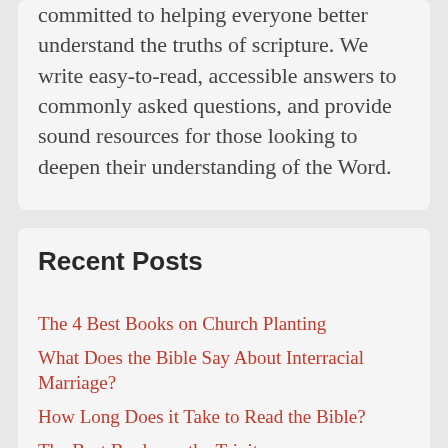committed to helping everyone better understand the truths of scripture. We write easy-to-read, accessible answers to commonly asked questions, and provide sound resources for those looking to deepen their understanding of the Word.
Recent Posts
The 4 Best Books on Church Planting
What Does the Bible Say About Interracial Marriage?
How Long Does it Take to Read the Bible?
The Best Books on the Trinity